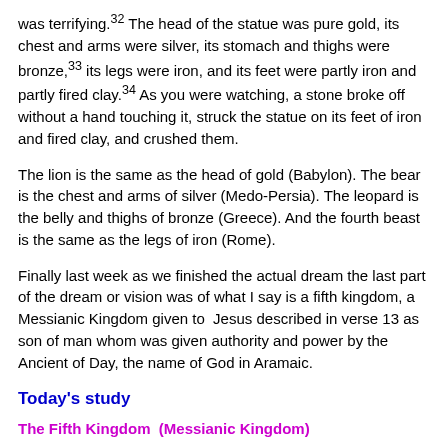was terrifying.32 The head of the statue was pure gold, its chest and arms were silver, its stomach and thighs were bronze,33 its legs were iron, and its feet were partly iron and partly fired clay.34 As you were watching, a stone broke off without a hand touching it, struck the statue on its feet of iron and fired clay, and crushed them.
The lion is the same as the head of gold (Babylon). The bear is the chest and arms of silver (Medo-Persia). The leopard is the belly and thighs of bronze (Greece). And the fourth beast is the same as the legs of iron (Rome).
Finally last week as we finished the actual dream the last part of the dream or vision was of what I say is a fifth kingdom, a Messianic Kingdom given to Jesus described in verse 13 as son of man whom was given authority and power by the Ancient of Day, the name of God in Aramaic.
Today's study
The Fifth Kingdom  (Messianic Kingdom)
Let's first talk about what I define as that fifth kingdom,